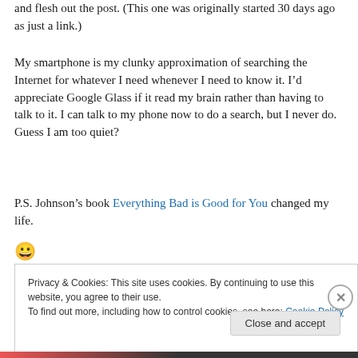and flesh out the post. (This one was originally started 30 days ago as just a link.)
My smartphone is my clunky approximation of searching the Internet for whatever I need whenever I need to know it. I’d appreciate Google Glass if it read my brain rather than having to talk to it. I can talk to my phone now to do a search, but I never do. Guess I am too quiet?
P.S. Johnson’s book Everything Bad is Good for You changed my life. 😀
Privacy & Cookies: This site uses cookies. By continuing to use this website, you agree to their use.
To find out more, including how to control cookies, see here: Cookie Policy